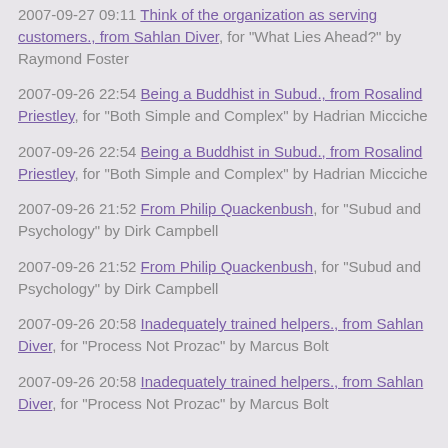2007-09-27 09:11 Think of the organization as serving customers., from Sahlan Diver, for "What Lies Ahead?" by Raymond Foster
2007-09-26 22:54 Being a Buddhist in Subud., from Rosalind Priestley, for "Both Simple and Complex" by Hadrian Micciche
2007-09-26 22:54 Being a Buddhist in Subud., from Rosalind Priestley, for "Both Simple and Complex" by Hadrian Micciche
2007-09-26 21:52 From Philip Quackenbush, for "Subud and Psychology" by Dirk Campbell
2007-09-26 21:52 From Philip Quackenbush, for "Subud and Psychology" by Dirk Campbell
2007-09-26 20:58 Inadequately trained helpers., from Sahlan Diver, for "Process Not Prozac" by Marcus Bolt
2007-09-26 20:58 Inadequately trained helpers., from Sahlan Diver, for "Process Not Prozac" by Marcus Bolt